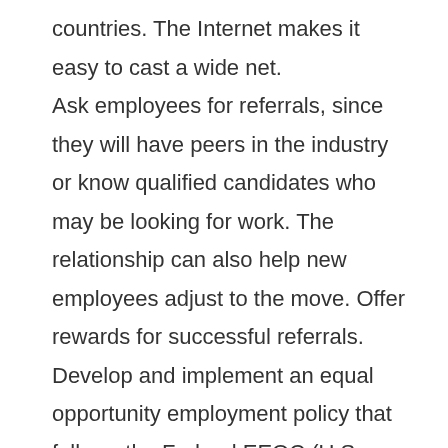countries. The Internet makes it easy to cast a wide net. Ask employees for referrals, since they will have peers in the industry or know qualified candidates who may be looking for work. The relationship can also help new employees adjust to the move. Offer rewards for successful referrals. Develop and implement an equal opportunity employment policy that follows the Federal EEOC (U.S. Equal